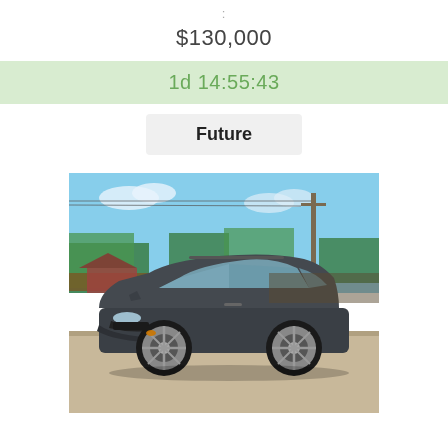:
$130,000
1d 14:55:43
Future
[Figure (photo): A dark gray Porsche Macan SUV parked on a pavement with trees, a utility pole, and a fence visible in the background under a blue sky.]